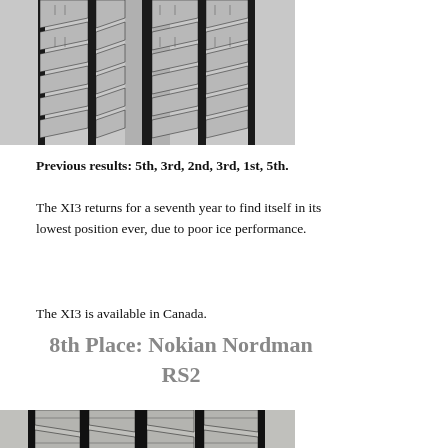[Figure (photo): Close-up photo of a winter tire tread pattern, showing the top portion of a tire with zigzag grooves and sipes.]
Previous results: 5th, 3rd, 2nd, 3rd, 1st, 5th.
The XI3 returns for a seventh year to find itself in its lowest position ever, due to poor ice performance.
The XI3 is available in Canada.
8th Place: Nokian Nordman RS2
[Figure (photo): Close-up photo of a Nokian Nordman RS2 winter tire tread pattern, showing deep grooves and sipes.]